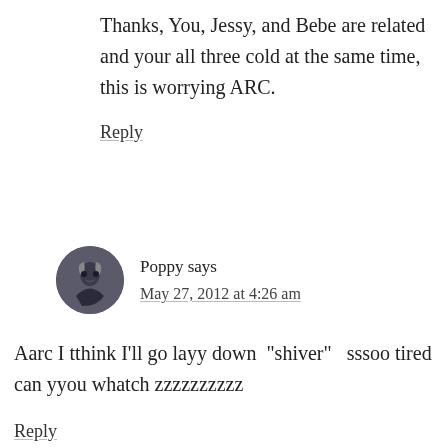Thanks, You, Jessy, and Bebe are related and your all three cold at the same time, this is worrying ARC.
Reply
Poppy says
May 27, 2012 at 4:26 am
Aarc I tthink I'll go layy down “shiver”  sssoo tired can yyou whatch zzzzzzzzzz
Reply